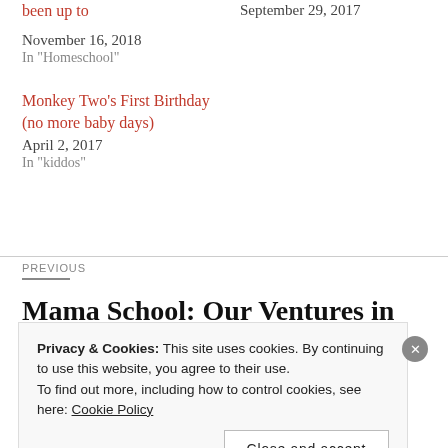been up to
September 29, 2017
November 16, 2018
In "Homeschool"
Monkey Two's First Birthday (no more baby days)
April 2, 2017
In "kiddos"
PREVIOUS
Mama School: Our Ventures in
Privacy & Cookies: This site uses cookies. By continuing to use this website, you agree to their use.
To find out more, including how to control cookies, see here: Cookie Policy
Close and accept